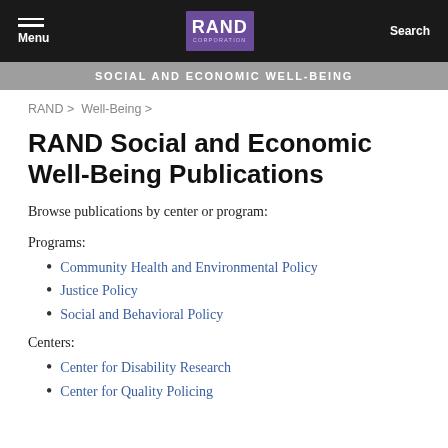Menu | RAND CORPORATION | Search
SOCIAL AND ECONOMIC WELL-BEING
RAND > Well-Being >
RAND Social and Economic Well-Being Publications
Browse publications by center or program:
Programs:
Community Health and Environmental Policy
Justice Policy
Social and Behavioral Policy
Centers:
Center for Disability Research
Center for Quality Policing